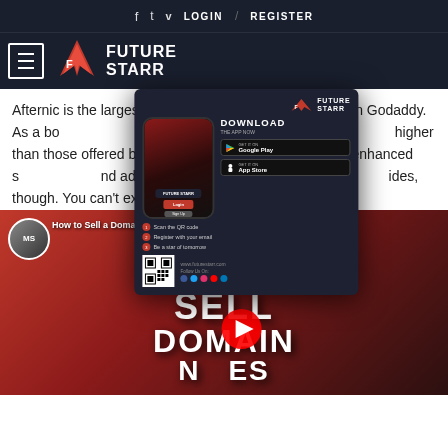f  t  v  LOGIN / REGISTER
[Figure (logo): FutureStarr logo with hamburger menu icon on dark navy background]
Afternic is the largest marketplace for selling domains on Godaddy. As a bonus, they pay higher commissions for domains you sell. higher than those offered by other brokers. Afternic also offers enhanced services and additional exposure in the marketplace, though. You can't expect a quick sale from any marketplace.
[Figure (screenshot): FutureStarr app download popup with phone mockup, Google Play and App Store buttons, QR code, and steps to download]
[Figure (screenshot): YouTube video thumbnail: How to Sell a Domain Names at GoDaddy, showing a bearded man with MS hat and large SELL DOMAIN NAMES text]